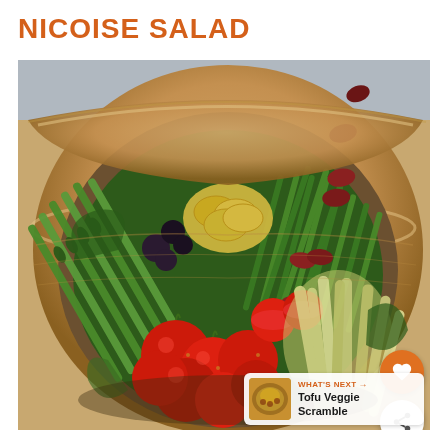NICOISE SALAD
[Figure (photo): A wooden bowl filled with a nicoise salad featuring asparagus, green beans, cherry tomatoes, artichoke hearts, kidney beans, potatoes, and olives arranged in sections.]
WHAT'S NEXT → Tofu Veggie Scramble